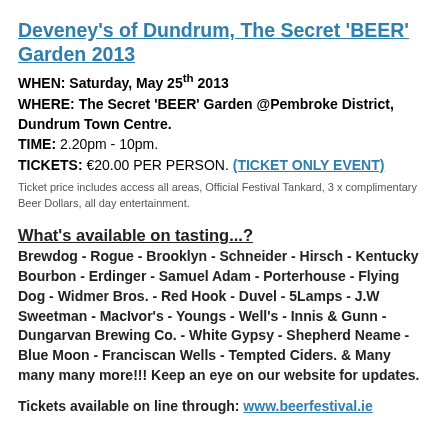Deveney's of Dundrum, The Secret 'BEER' Garden 2013
WHEN: Saturday, May 25th 2013
WHERE: The Secret 'BEER' Garden @Pembroke District, Dundrum Town Centre.
TIME: 2.20pm - 10pm.
TICKETS: €20.00 PER PERSON. (TICKET ONLY EVENT)
Ticket price includes access all areas, Official Festival Tankard, 3 x complimentary Beer Dollars, all day entertainment.
What's available on tasting...?
Brewdog - Rogue - Brooklyn - Schneider - Hirsch - Kentucky Bourbon - Erdinger - Samuel Adam - Porterhouse - Flying Dog - Widmer Bros. - Red Hook - Duvel - 5Lamps - J.W Sweetman - MacIvor's - Youngs - Well's - Innis & Gunn - Dungarvan Brewing Co. - White Gypsy - Shepherd Neame - Blue Moon - Franciscan Wells - Tempted Ciders. & Many many many more!!! Keep an eye on our website for updates.
Tickets available on line through: www.beerfestival.ie